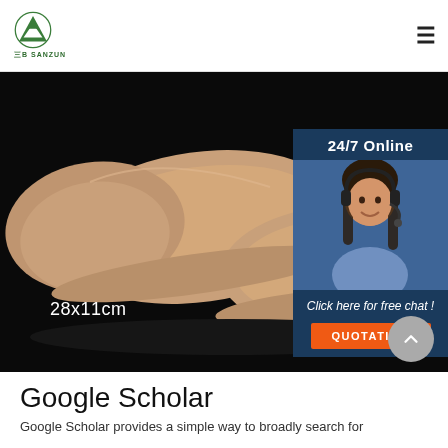[Figure (logo): Green triangle/mountain logo with Chinese text 三B SANZUN below]
[Figure (photo): Product photo of brown/tan hotel slippers on black background, labeled 28x11cm, with 24/7 Online customer service agent overlay panel and QUOTATION button]
Google Scholar
Google Scholar provides a simple way to broadly search for